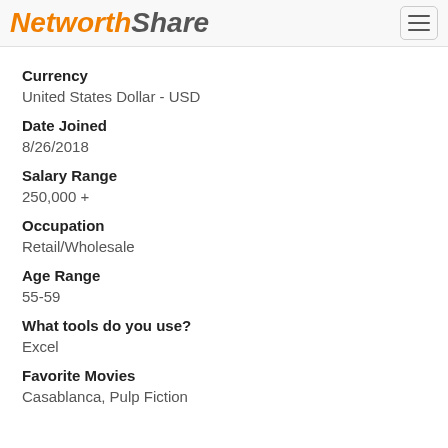NetworthShare
Currency
United States Dollar - USD
Date Joined
8/26/2018
Salary Range
250,000 +
Occupation
Retail/Wholesale
Age Range
55-59
What tools do you use?
Excel
Favorite Movies
Casablanca, Pulp Fiction